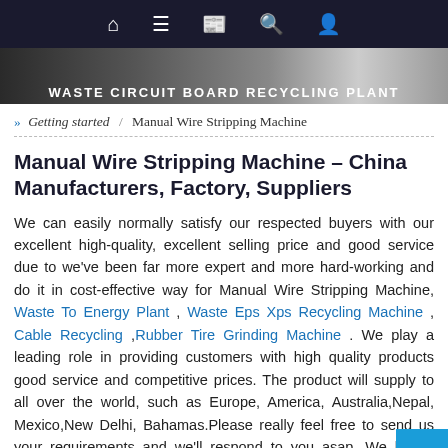WASTE CIRCUIT BOARD RECYCLING PLANT
» Getting started / Manual Wire Stripping Machine
Manual Wire Stripping Machine – China Manufacturers, Factory, Suppliers
We can easily normally satisfy our respected buyers with our excellent high-quality, excellent selling price and good service due to we've been far more expert and more hard-working and do it in cost-effective way for Manual Wire Stripping Machine, Waste To Energy Plant , Waste Eps Xps Recycling Machine , Cable Recycling ,Rubber Tire Grinding Machine . We play a leading role in providing customers with high quality products good service and competitive prices. The product will supply to all over the world, such as Europe, America, Australia,Nepal, Mexico,New Delhi, Bahamas.Please really feel free to send us your requirements and we'll respond to you asap. We hav a professional engineering group to serve for your ju